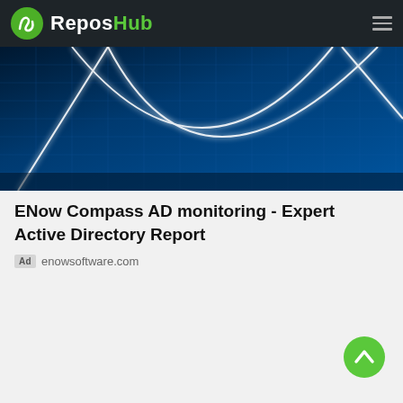ReposHub
[Figure (photo): Abstract blue digital network background with glowing white curved lines on a dark blue grid pattern]
ENow Compass AD monitoring - Expert Active Directory Report
Ad  enowsoftware.com
[Figure (illustration): Green circular scroll-to-top button with white upward arrow chevron]